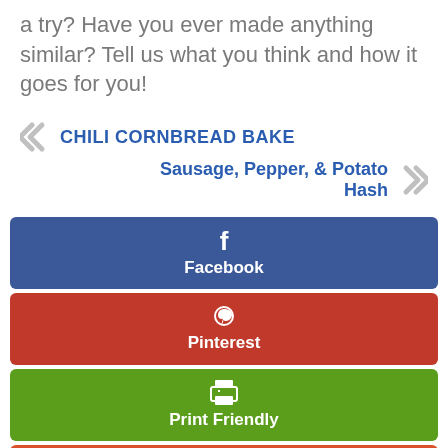a try? Have you ever made anything similar? Tell us what you think and how it goes for you!
« CHILI CORNBREAD BAKE
Sausage, Pepper, & Potato Hash »
[Figure (other): Facebook share button (blue)]
[Figure (other): Pinterest share button (red)]
[Figure (other): Print Friendly button (green)]
[Figure (other): Google+ share button (orange-red) with scroll-to-top arrow button]